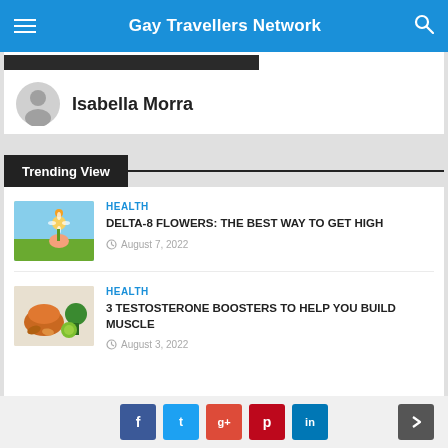Gay Travellers Network
Isabella Morra
Trending View
HEALTH
DELTA-8 FLOWERS: THE BEST WAY TO GET HIGH
August 7, 2022
HEALTH
3 TESTOSTERONE BOOSTERS TO HELP YOU BUILD MUSCLE
August 3, 2022